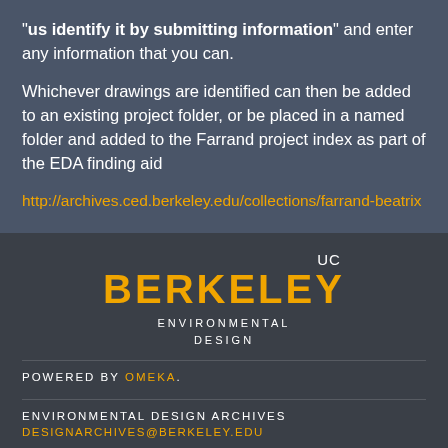"us identify it by submitting information" and enter any information that you can.
Whichever drawings are identified can then be added to an existing project folder, or be placed in a named folder and added to the Farrand project index as part of the EDA finding aid
http://archives.ced.berkeley.edu/collections/farrand-beatrix
[Figure (logo): UC Berkeley Environmental Design logo with UC above BERKELEY in gold and ENVIRONMENTAL DESIGN below in white]
POWERED BY OMEKA.
ENVIRONMENTAL DESIGN ARCHIVES
DESIGNARCHIVES@BERKELEY.EDU